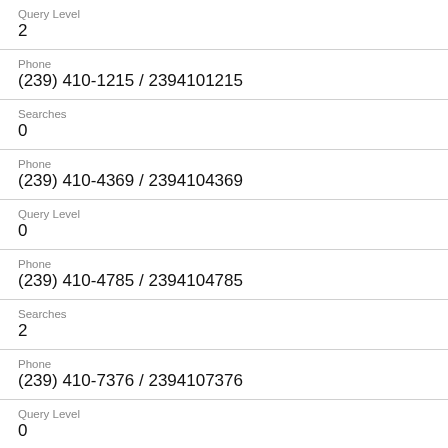Query Level
2
Phone
(239) 410-1215 / 2394101215
Searches
0
Phone
(239) 410-4369 / 2394104369
Query Level
0
Phone
(239) 410-4785 / 2394104785
Searches
2
Phone
(239) 410-7376 / 2394107376
Query Level
0